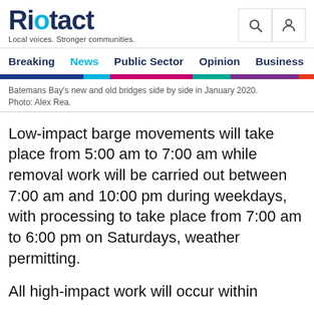Riotact - Local voices. Stronger communities.
Breaking  News  Public Sector  Opinion  Business  R
Batemans Bay's new and old bridges side by side in January 2020. Photo: Alex Rea.
Low-impact barge movements will take place from 5:00 am to 7:00 am while removal work will be carried out between 7:00 am and 10:00 pm during weekdays, with processing to take place from 7:00 am to 6:00 pm on Saturdays, weather permitting.
All high-impact work will occur within